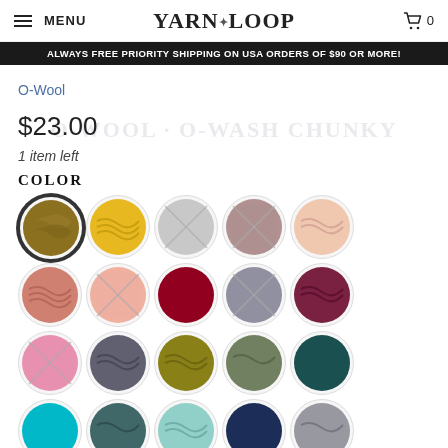MENU | YARN LOOP | Cart 0
ALWAYS FREE PRIORITY SHIPPING ON USA ORDERS OF $90 OR MORE!
O-Wool
$23.00
1 item left
COLOR
[Figure (other): Color swatch grid showing 25+ yarn color options, some crossed out indicating out of stock. Colors include olive/gold, yellow, light gray (x), mauve (x), blush, salmon, pink (x), dark red, gray-purple (x), burgundy, pink (x), dark gray, olive green, sage green, dark teal, teal/turquoise, dark teal-gray, light teal, navy, medium gray, and more partial row below.]